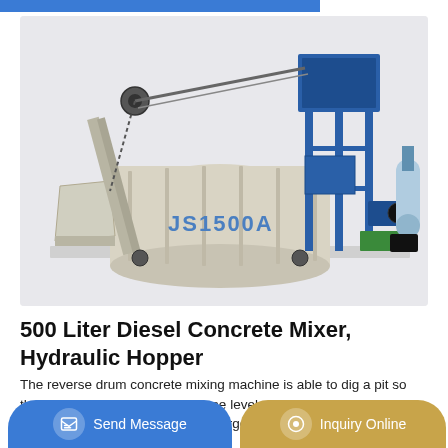[Figure (photo): JS1500A twin-shaft concrete mixer machine with hydraulic hopper, diesel powered, shown on a light grey background. The machine is beige/cream colored with blue structural frame and components, with 'JS1500A' text visible on the drum.]
500 Liter Diesel Concrete Mixer, Hydraulic Hopper
The reverse drum concrete mixing machine is able to dig a pit so that the hopper will be at the same level as the ground. As a result, it would be very convenient for charge-in. Features